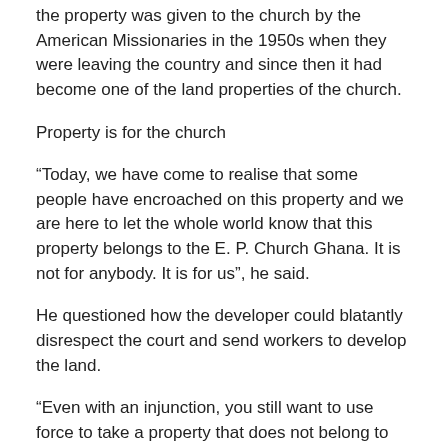the property was given to the church by the American Missionaries in the 1950s when they were leaving the country and since then it had become one of the land properties of the church.
Property is for the church
“Today, we have come to realise that some people have encroached on this property and we are here to let the whole world know that this property belongs to the E. P. Church Ghana. It is not for anybody. It is for us”, he said.
He questioned how the developer could blatantly disrespect the court and send workers to develop the land.
“Even with an injunction, you still want to use force to take a property that does not belong to you? You cannot do this anywhere in the world, and it must not be allowed in this